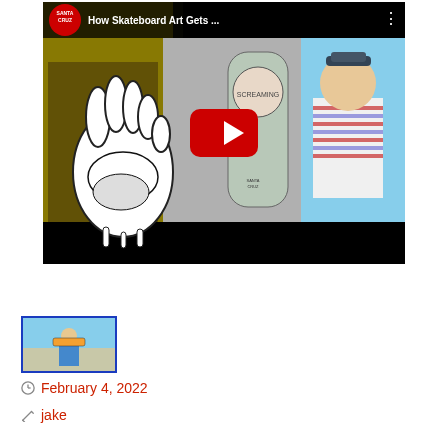[Figure (screenshot): YouTube video thumbnail showing 'How Skateboard Art Gets ...' with Santa Cruz logo, two people holding a skateboard deck with screaming hand artwork, and a YouTube play button overlay]
[Figure (photo): Small thumbnail photo of a person holding a skateboard at a skate park, with a blue border]
February 4, 2022
jake